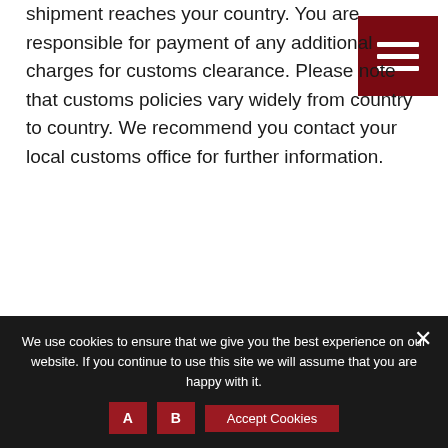shipment reaches your country. You are responsible for payment of any additional charges for customs clearance. Please note that customs policies vary widely from country to country. We recommend you contact your local customs office for further information.
Faulty/incorrect products received
In the unlikely event that you have received the wrong products or that the products are faulty or damaged in any way please contact our Customer Service Team.
We use cookies to ensure that we give you the best experience on our website. If you continue to use this site we will assume that you are happy with it.